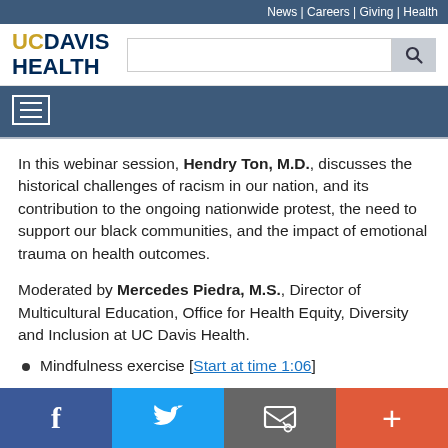News | Careers | Giving | Health
[Figure (logo): UC Davis Health logo with search bar]
In this webinar session, Hendry Ton, M.D., discusses the historical challenges of racism in our nation, and its contribution to the ongoing nationwide protest, the need to support our black communities, and the impact of emotional trauma on health outcomes.
Moderated by Mercedes Piedra, M.S., Director of Multicultural Education, Office for Health Equity, Diversity and Inclusion at UC Davis Health.
Mindfulness exercise [Start at time 1:06]